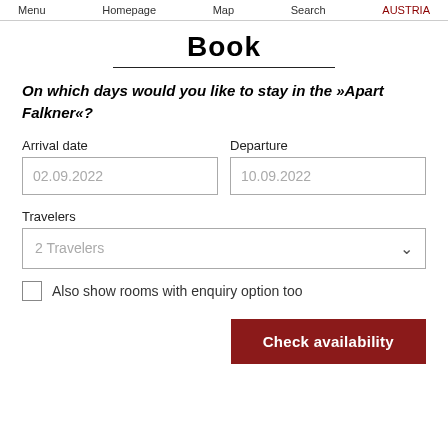Menu   Homepage   Map   Search   AUSTRIA
Book
On which days would you like to stay in the »Apart Falkner«?
Arrival date
02.09.2022
Departure
10.09.2022
Travelers
2 Travelers
Also show rooms with enquiry option too
Check availability